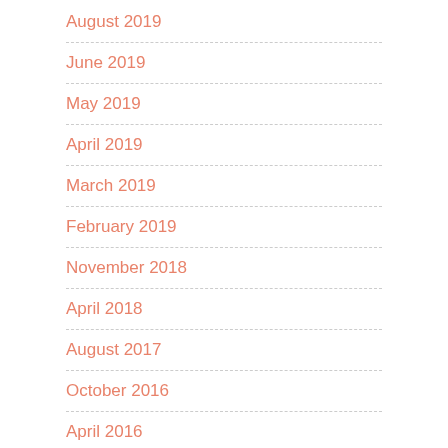August 2019
June 2019
May 2019
April 2019
March 2019
February 2019
November 2018
April 2018
August 2017
October 2016
April 2016